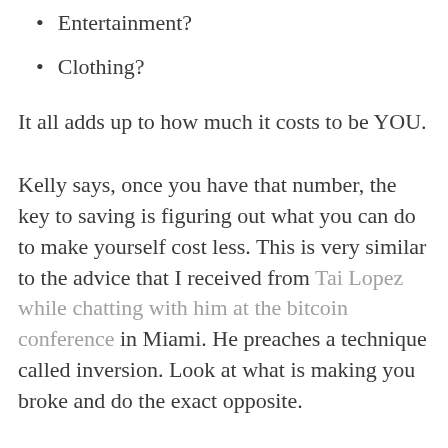Entertainment?
Clothing?
It all adds up to how much it costs to be YOU.
Kelly says, once you have that number, the key to saving is figuring out what you can do to make yourself cost less. This is very similar to the advice that I received from Tai Lopez while chatting with him at the bitcoin conference in Miami. He preaches a technique called inversion. Look at what is making you broke and do the exact opposite.
If writing out a budget isn't for you tech savvy millenials, there are some great resources and apps available to help